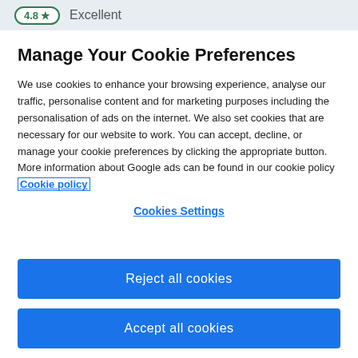4.8 ★  Excellent
Manage Your Cookie Preferences
We use cookies to enhance your browsing experience, analyse our traffic, personalise content and for marketing purposes including the personalisation of ads on the internet. We also set cookies that are necessary for our website to work. You can accept, decline, or manage your cookie preferences by clicking the appropriate button. More information about Google ads can be found in our cookie policy Cookie policy
Cookies Settings
Reject all cookies
Accept all cookies